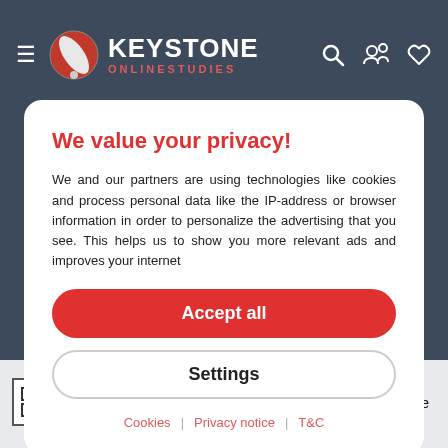[Figure (logo): Keystone Online Studies logo with hamburger menu and navigation icons on dark blue header]
We value your privacy!
We and our partners are using technologies like cookies and process personal data like the IP-address or browser information in order to personalize the advertising that you see. This helps us to show you more relevant ads and improves your internet
Accept all
Settings
Cookies | Privacy notice | T&C
• Bachelor of Business Administration is an undergraduate degree that can be earned in about three to four years. By